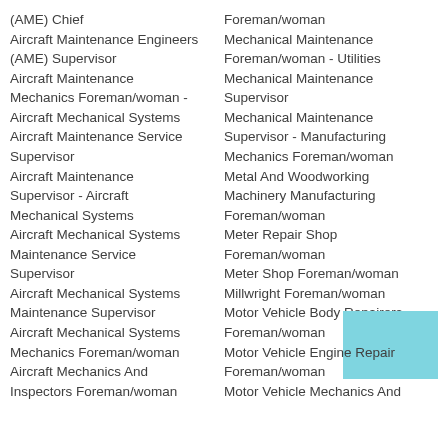(AME) Chief Aircraft Maintenance Engineers (AME) Supervisor
Aircraft Maintenance Mechanics Foreman/woman -
Aircraft Mechanical Systems
Aircraft Maintenance Service Supervisor
Aircraft Maintenance Supervisor - Aircraft Mechanical Systems
Aircraft Mechanical Systems Maintenance Service Supervisor
Aircraft Mechanical Systems Maintenance Supervisor
Aircraft Mechanical Systems Mechanics Foreman/woman
Aircraft Mechanics And Inspectors Foreman/woman
Foreman/woman
Mechanical Maintenance Foreman/woman - Utilities
Mechanical Maintenance Supervisor
Mechanical Maintenance Supervisor - Manufacturing
Mechanics Foreman/woman
Metal And Woodworking Machinery Manufacturing Foreman/woman
Meter Repair Shop Foreman/woman
Meter Shop Foreman/woman
Millwright Foreman/woman
Motor Vehicle Body Repairers Foreman/woman
Motor Vehicle Engine Repair Foreman/woman
Motor Vehicle Mechanics And